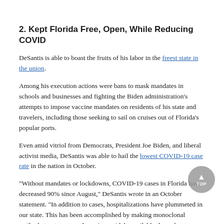2. Kept Florida Free, Open, While Reducing COVID
DeSantis is able to boast the fruits of his labor in the freest state in the union.
Among his execution actions were bans to mask mandates in schools and businesses and fighting the Biden administration's attempts to impose vaccine mandates on residents of his state and travelers, including those seeking to sail on cruises out of Florida's popular ports.
Even amid vitriol from Democrats, President Joe Biden, and liberal activist media, DeSantis was able to hail the lowest COVID-19 case rate in the nation in October.
"Without mandates or lockdowns, COVID-19 cases in Florida have decreased 90% since August," DeSantis wrote in an October statement. "In addition to cases, hospitalizations have plummeted in our state. This has been accomplished by making monoclonal antibody treatments and vaccines widely available throughout our state while protecting Floridians from government overreach."